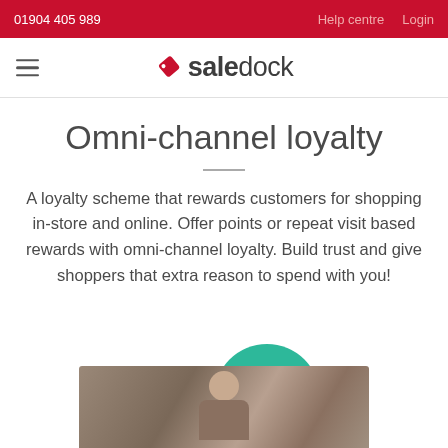01904 405 989   Help centre   Login
[Figure (logo): Saledock logo with red price tag icon and 'saledock' text]
Omni-channel loyalty
A loyalty scheme that rewards customers for shopping in-store and online. Offer points or repeat visit based rewards with omni-channel loyalty. Build trust and give shoppers that extra reason to spend with you!
[Figure (photo): Photo of a person in a shop/store setting, partially visible at bottom of page, with a teal circle graphic element above]